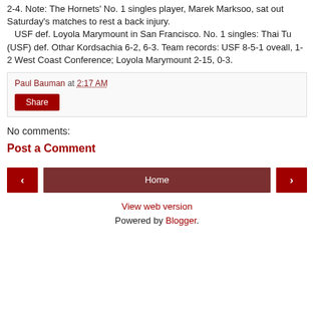2-4. Note: The Hornets' No. 1 singles player, Marek Marksoo, sat out Saturday's matches to rest a back injury. USF def. Loyola Marymount in San Francisco. No. 1 singles: Thai Tu (USF) def. Othar Kordsachia 6-2, 6-3. Team records: USF 8-5-1 oveall, 1-2 West Coast Conference; Loyola Marymount 2-15, 0-3.
Paul Bauman at 2:17 AM
Share
No comments:
Post a Comment
Home
View web version
Powered by Blogger.